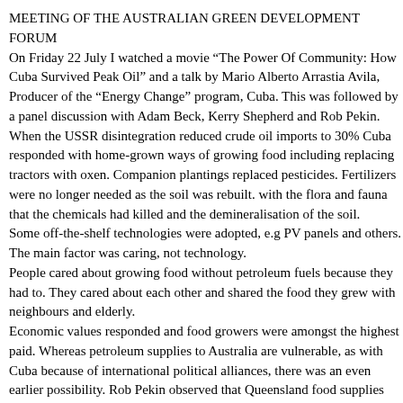MEETING OF THE AUSTRALIAN GREEN DEVELOPMENT FORUM
On Friday 22 July I watched a movie “The Power Of Community: How Cuba Survived Peak Oil” and a talk by Mario Alberto Arrastia Avila, Producer of the “Energy Change” program, Cuba. This was followed by a panel discussion with Adam Beck, Kerry Shepherd and Rob Pekin.
When the USSR disintegration reduced crude oil imports to 30% Cuba responded with home-grown ways of growing food including replacing tractors with oxen. Companion plantings replaced pesticides. Fertilizers were no longer needed as the soil was rebuilt. with the flora and fauna that the chemicals had killed and the demineralisation of the soil.
Some off-the-shelf technologies were adopted, e.g PV panels and others. The main factor was caring, not technology.
People cared about growing food without petroleum fuels because they had to. They cared about each other and shared the food they grew with neighbours and elderly.
Economic values responded and food growers were amongst the highest paid. Whereas petroleum supplies to Australia are vulnerable, as with Cuba because of international political alliances, there was an even earlier possibility. Rob Pekin observed that Queensland food supplies had been under threat recently. Vegetables had almost disappeared from Coles. People had started growing their own vegetables. There had been plenty of meat as herds were slaughtered.